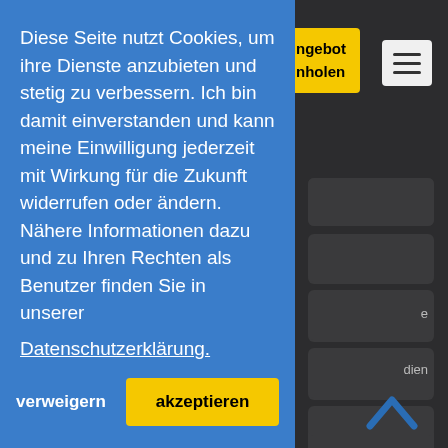[Figure (screenshot): Website screenshot showing a cookie consent overlay on a dark background. The overlay is blue and contains German text about cookies. There is a yellow button top right with partial text 'ngebot / nholen', a hamburger menu icon, and dark menu rows on the right side. At the bottom right is a blue upward chevron arrow.]
Diese Seite nutzt Cookies, um ihre Dienste anzubieten und stetig zu verbessern. Ich bin damit einverstanden und kann meine Einwilligung jederzeit mit Wirkung für die Zukunft widerrufen oder ändern. Nähere Informationen dazu und zu Ihren Rechten als Benutzer finden Sie in unserer Datenschutzerklärung.
verweigern
akzeptieren